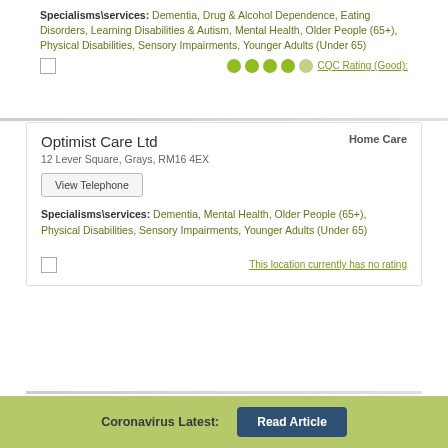Specialisms\services: Dementia, Drug & Alcohol Dependence, Eating Disorders, Learning Disabilities & Autism, Mental Health, Older People (65+), Physical Disabilities, Sensory Impairments, Younger Adults (Under 65)
CQC Rating (Good):
Optimist Care Ltd
Home Care
12 Lever Square, Grays, RM16 4EX
View Telephone
Specialisms\services: Dementia, Mental Health, Older People (65+), Physical Disabilities, Sensory Impairments, Younger Adults (Under 65)
This location currently has no rating
Coronavirus Latest:
Read Article